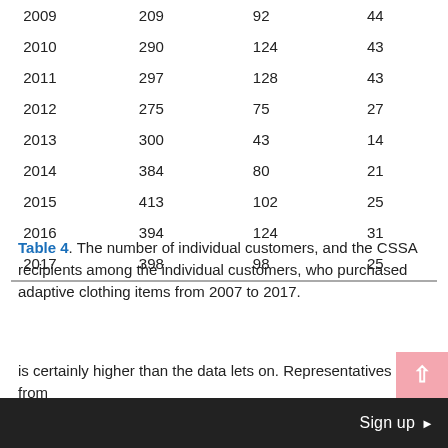| 2009 | 209 | 92 | 44 |
| 2010 | 290 | 124 | 43 |
| 2011 | 297 | 128 | 43 |
| 2012 | 275 | 75 | 27 |
| 2013 | 300 | 43 | 14 |
| 2014 | 384 | 80 | 21 |
| 2015 | 413 | 102 | 25 |
| 2016 | 394 | 124 | 31 |
| 2017 | 398 | 98 | 25 |
Table 4. The number of individual customers, and the CSSA recipients among the individual customers, who purchased adaptive clothing items from 2007 to 2017.
is certainly higher than the data lets on. Representatives from
Sign up